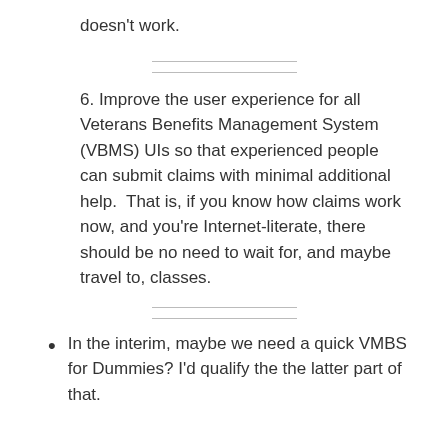doesn't work.
6. Improve the user experience for all Veterans Benefits Management System (VBMS) UIs so that experienced people can submit claims with minimal additional help.  That is, if you know how claims work now, and you're Internet-literate, there should be no need to wait for, and maybe travel to, classes.
In the interim, maybe we need a quick VMBS for Dummies? I'd qualify the the latter part of that.